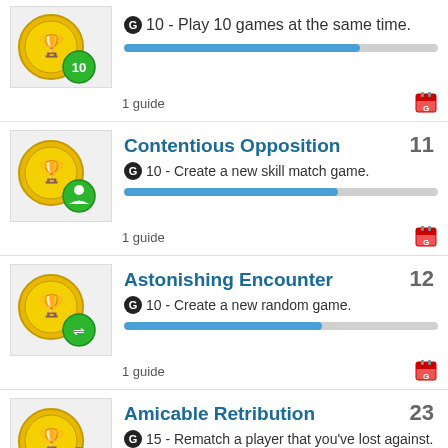G 10 - Play 10 games at the same time.
1 guide
G 10 - Create a new skill match game.
1 guide
G 10 - Create a new random game.
1 guide
G 15 - Rematch a player that you've lost against.
1 guide